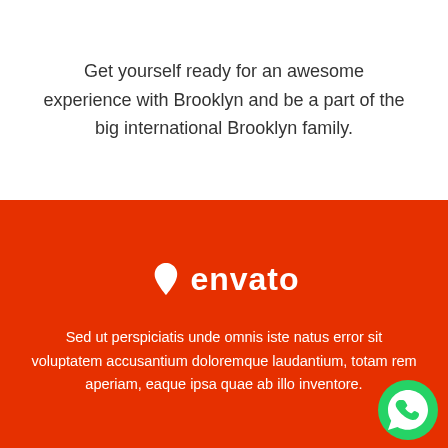Get yourself ready for an awesome experience with Brooklyn and be a part of the big international Brooklyn family.
[Figure (logo): Envato logo — white leaf/drop icon followed by the word 'envato' in white on orange background]
Sed ut perspiciatis unde omnis iste natus error sit voluptatem accusantium doloremque laudantium, totam rem aperiam, eaque ipsa quae ab illo inventore.
[Figure (logo): WhatsApp circular green button icon in the bottom-right corner]